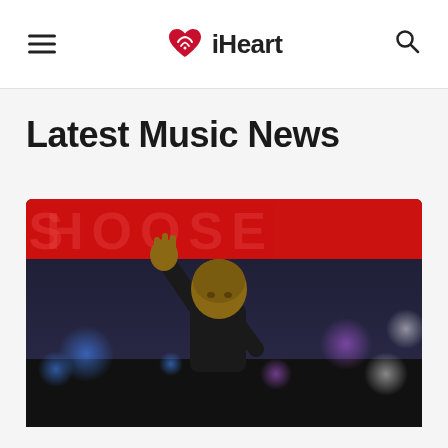iHeart
Latest Music News
[Figure (photo): A performer on stage wearing a black jacket, raising one hand to the crowd, with a blurred red banner in the background and bokeh lights. Likely Dr. Dre performing at a live event.]